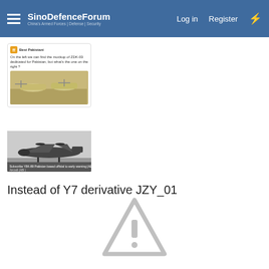SinoDefenceForum — Log in  Register
[Figure (screenshot): Tweet card showing text: 'On the left we can find the mockup of ZDK-03 dedicated for Pakistan, but what's the one on the right?' with a photo of drone/helicopter mockups on a table]
[Figure (photo): Black and white photo of a large turboprop aircraft (drone) on the ground with caption text overlay]
Instead of Y7 derivative JZY_01
[Figure (other): Grey warning triangle icon with exclamation mark (broken/missing image placeholder)]